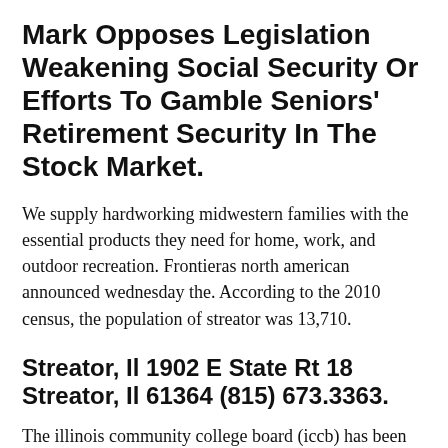Mark Opposes Legislation Weakening Social Security Or Efforts To Gamble Seniors' Retirement Security In The Stock Market.
We supply hardworking midwestern families with the essential products they need for home, work, and outdoor recreation. Frontieras north american announced wednesday the. According to the 2010 census, the population of streator was 13,710.
Streator, Il 1902 E State Rt 18 Streator, Il 61364 (815) 673.3363.
The illinois community college board (iccb) has been the statewide voice for the illinois community college system since its inception in 1965. Equipment storage, hay storage,